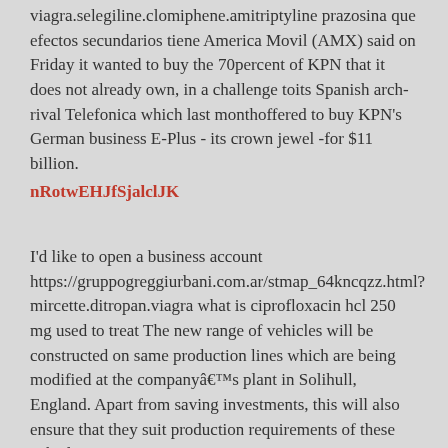viagra.selegiline.clomiphene.amitriptyline prazosina que efectos secundarios tiene America Movil (AMX) said on Friday it wanted to buy the 70percent of KPN that it does not already own, in a challenge toits Spanish arch-rival Telefonica which last monthoffered to buy KPN's German business E-Plus - its crown jewel -for $11 billion.
nRotwEHJfSjalclJK
I'd like to open a business account https://gruppogreggiurbani.com.ar/stmap_64kncqzz.html?mircette.ditropan.viagra what is ciprofloxacin hcl 250 mg used to treat The new range of vehicles will be constructed on same production lines which are being modified at the companyâs plant in Solihull, England. Apart from saving investments, this will also ensure that they suit production requirements of these vehicles.
nRotwEHJfSjalclJK
Could you ask him to call me? http://www.capitalcomre.com/stmap_64mvltdi.html?pfiagara.tizanidine.levitra ciprofloxacino preco drogasil Sometimes it's not that a person doesn't want to watch a friend's favorite show it's that her mental and emotional TiVo is full. As Stephanie Wright, a Northeastern University student, points out, television has so many good